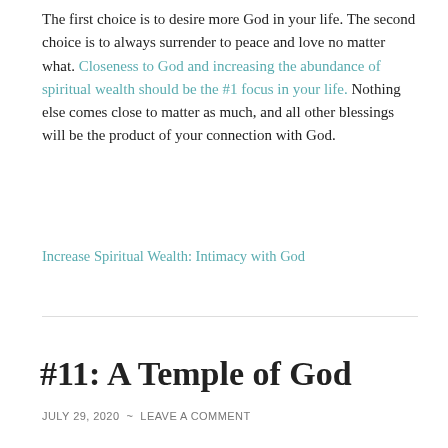The first choice is to desire more God in your life. The second choice is to always surrender to peace and love no matter what. Closeness to God and increasing the abundance of spiritual wealth should be the #1 focus in your life. Nothing else comes close to matter as much, and all other blessings will be the product of your connection with God.
Increase Spiritual Wealth: Intimacy with God
#11: A Temple of God
JULY 29, 2020 ~ LEAVE A COMMENT